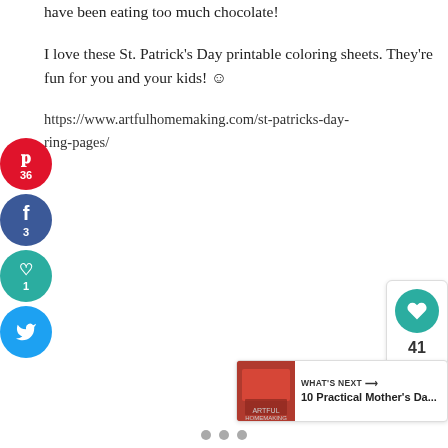have been eating too much chocolate!
I love these St. Patrick's Day printable coloring sheets. They're fun for you and your kids! ☺
https://www.artfulhomemaking.com/st-patricks-day-ring-pages/
[Figure (infographic): Left side social share buttons: Pinterest (red circle, P icon, 36), Facebook (blue circle, f icon, 3), Heart/Save (teal circle, heart icon, 1), Twitter (blue circle, bird icon)]
[Figure (infographic): Right side floating panel with teal heart icon (41 count) and share icon]
WHAT'S NEXT → 10 Practical Mother's Da...